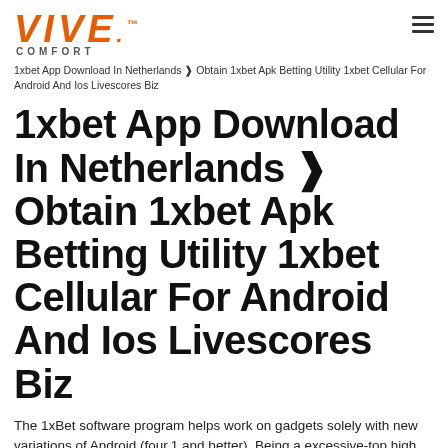[Figure (logo): VIVE COMFORT logo in orange italic bold text with trademark symbol and COMFORT subtitle in gray]
1xbet App Download In Netherlands ❱ Obtain 1xbet Apk Betting Utility 1xbet Cellular For Android And Ios Livescores Biz
1xbet App Download In Netherlands ❱ Obtain 1xbet Apk Betting Utility 1xbet Cellular For Android And Ios Livescores Biz
The 1xBet software program helps work on gadgets solely with new variations of Android (four.1 and better). Being a excessive-top high quality software, it permits completely substituting the